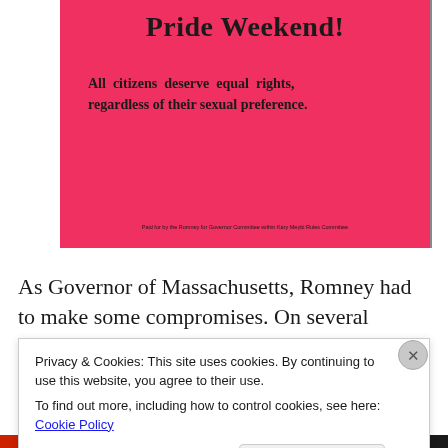[Figure (photo): Pink flyer with bold black text reading 'Pride Weekend!' and 'All citizens deserve equal rights, regardless of their sexual preference.' with small footer text at the bottom.]
As Governor of Massachusetts, Romney had to make some compromises. On several occasions, he purported
Privacy & Cookies: This site uses cookies. By continuing to use this website, you agree to their use.
To find out more, including how to control cookies, see here: Cookie Policy